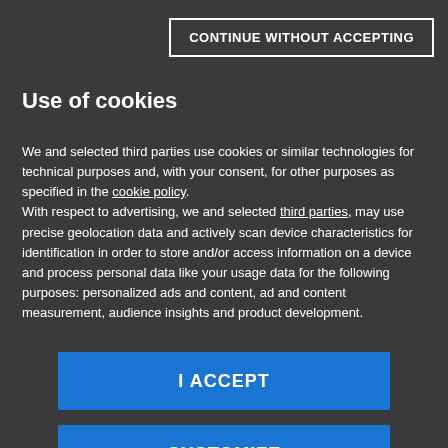CONTINUE WITHOUT ACCEPTING
Use of cookies
We and selected third parties use cookies or similar technologies for technical purposes and, with your consent, for other purposes as specified in the cookie policy.
With respect to advertising, we and selected third parties, may use precise geolocation data and actively scan device characteristics for identification in order to store and/or access information on a device and process personal data like your usage data for the following purposes: personalized ads and content, ad and content measurement, audience insights and product development.
I ACCEPT
CUSTOMIZE
[Figure (logo): Mondadori Media logo — red triangle/arrow icon with MONDADORI MEDIA text]
properly
La Marie had been invented, I went back to the idea of immateriality and I added